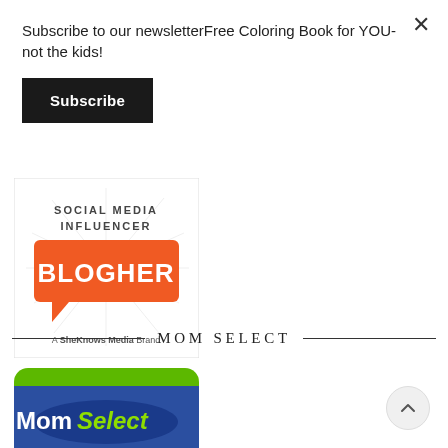Subscribe to our newsletterFree Coloring Book for YOU- not the kids!
Subscribe
[Figure (logo): BlogHer Social Media Influencer badge — orange speech-bubble logo with 'BLOGHER' text, 'SOCIAL MEDIA INFLUENCER' text above, 'A SheKnows Media Brand' below, on white background with radiating lines]
MOM SELECT
[Figure (logo): MomSelect badge — blue rounded rectangle with green top bar and 'MomSelect' text in white and green]